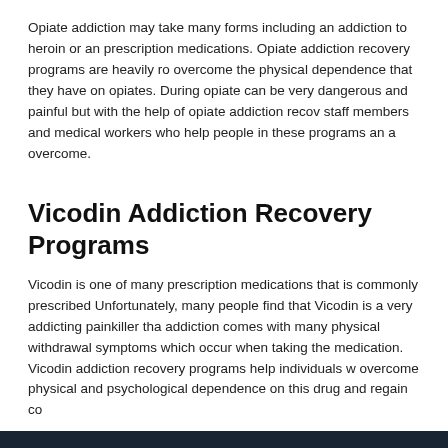Opiate addiction may take many forms including an addiction to heroin or an prescription medications. Opiate addiction recovery programs are heavily ro overcome the physical dependence that they have on opiates. During opiate can be very dangerous and painful but with the help of opiate addiction recov staff members and medical workers who help people in these programs an a overcome.
Vicodin Addiction Recovery Programs
Vicodin is one of many prescription medications that is commonly prescribed Unfortunately, many people find that Vicodin is a very addicting painkiller tha addiction comes with many physical withdrawal symptoms which occur when taking the medication. Vicodin addiction recovery programs help individuals w overcome physical and psychological dependence on this drug and regain co
All Rights Reserved 2017-2018. DrugRecovery.com | Home | About Drug Recovery | Drug Recovery Centers | Drug Recovery P...
Call 1 (888) 460-6556 anytime to speak